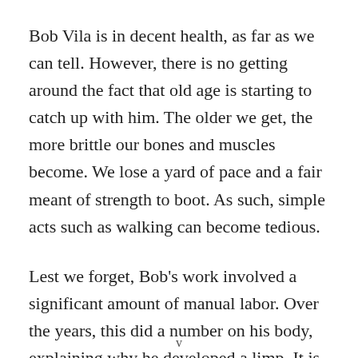Bob Vila is in decent health, as far as we can tell. However, there is no getting around the fact that old age is starting to catch up with him. The older we get, the more brittle our bones and muscles become. We lose a yard of pace and a fair meant of strength to boot. As such, simple acts such as walking can become tedious.
Lest we forget, Bob's work involved a significant amount of manual labor. Over the years, this did a number on his body, explaining why he developed a limp. It is, however
v